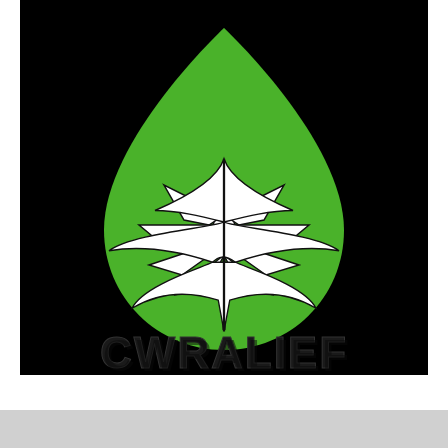[Figure (logo): CWRALIEF logo: a green teardrop/droplet shape containing a white cannabis leaf with black outline, with the text CWRALIEF in dark 3D block letters below, all on a black background]